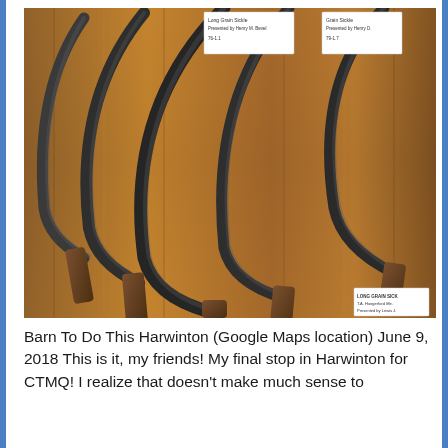[Figure (photo): Museum display of antique grain sickles/scythes mounted on a wooden wall with identification tags attached. Multiple curved metal blades with wooden handles are arranged in a fan-like pattern. Small white label cards are attached to each tool with handwritten or typed information.]
Barn To Do This Harwinton (Google Maps location) June 9, 2018 This is it, my friends! My final stop in Harwinton for CTMQ! I realize that doesn't make much sense to